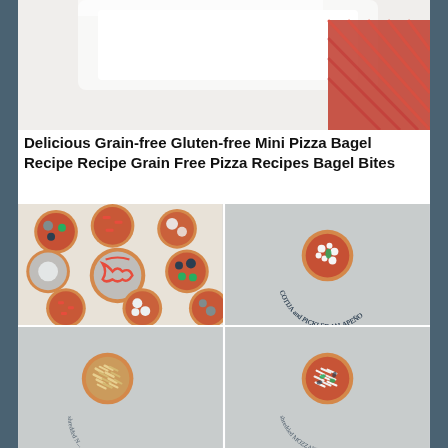[Figure (photo): Top portion of a photo showing a white plate and a red patterned cloth/napkin on a light background]
Delicious Grain-free Gluten-free Mini Pizza Bagel Recipe Recipe Grain Free Pizza Recipes Bagel Bites
[Figure (photo): Overhead view of multiple mini pizza bagels with various toppings including tomato sauce, cheese, mushrooms, peppers, and sour cream]
[Figure (photo): Single mini pizza bagel with cotija cheese and pickled jalapeño on a light blue/gray surface, with curved text label 'COTIJA and PICKLED JALAPEÑO']
[Figure (photo): Single mini pizza bagel with shredded cheese topping on a light blue/gray surface, with partial text at bottom]
[Figure (photo): Single mini pizza bagel with shredded mozzarella and green and dark toppings on a light blue/gray surface, with curved text label 'shredded MOZZARELLA...']